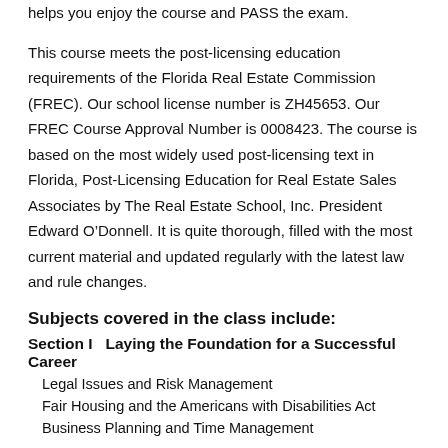helps you enjoy the course and PASS the exam.
This course meets the post-licensing education requirements of the Florida Real Estate Commission (FREC). Our school license number is ZH45653. Our FREC Course Approval Number is 0008423. The course is based on the most widely used post-licensing text in Florida, Post-Licensing Education for Real Estate Sales Associates by The Real Estate School, Inc. President Edward O’Donnell. It is quite thorough, filled with the most current material and updated regularly with the latest law and rule changes.
Subjects covered in the class include:
Section I   Laying the Foundation for a Successful Career
Legal Issues and Risk Management
Fair Housing and the Americans with Disabilities Act
Business Planning and Time Management
Section II   Obtaining Listings That Sell
Prospecting for Listings
Pricing the Property to Sell